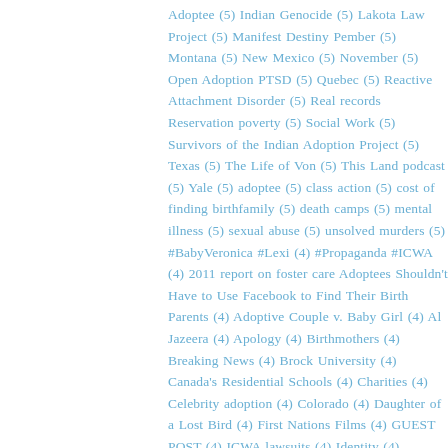Adoptee (5) Indian Genocide (5) Lakota Law Project (5) Manifest Destiny Pember (5) Montana (5) New Mexico (5) November (5) Open Adoption PTSD (5) Quebec (5) Reactive Attachment Disorder (5) Real records Reservation poverty (5) Social Work (5) Survivors of the Indian Adoption Project (5) Texas (5) The Life of Von (5) This Land podcast (5) Yale (5) adoptee (5) class action (5) cost of finding birthfamily (5) death camps (5) mental illness (5) sexual abuse (5) unsolved murders (5) #BabyVeronica #Lexi (4) #Propaganda #ICWA (4) 2011 report on foster care Adoptees Shouldn't Have to Use Facebook to Find Their Birth Parents (4) Adoptive Couple v. Baby Girl (4) Al Jazeera (4) Apology (4) Birthmothers (4) Breaking News (4) Brock University (4) Canada's Residential Schools (4) Charities (4) Celebrity adoption (4) Colorado (4) Daughter of a Lost Bird (4) First Nations Films (4) GUEST POST (4) ICWA lawsuits (4) Identity (4) Indigenous children (4) Interior Secretary (4) Iowa (4) Secwepemc band of the Shuswap (4) Last Real Indians (4) Lisa Morris (4) Lost Voices (4) Meeting Pope (4) Mending the Hoop (4) Metis (4) Missing and Murdered (4) Murray Sinclair (4) Myths (4) National Native American Boarding School (4) Native American History (4) Native American spirituality (4) New York state (4) New York state adoptees (4) Ontario class action lawsuit (4) Papal visit (4) Pope Francis (4) Pound Pup Legacy (4) Real ID Act (4) Sisseton Wahpeton (4) South Carolina (4) Standing Rock (4) Stolen Fury (4) Terry Cross (4) The Last Acceptable Racism and the Unknown Americans (4) Toxic stress (4) Truth and Reconciliation (4) U.S. records (4) USA (4) Vancouver Island (4) Why Treaties Matter (4) adoption reform (4) connecticut (4) crimes against humanity (4) culture loss (4)